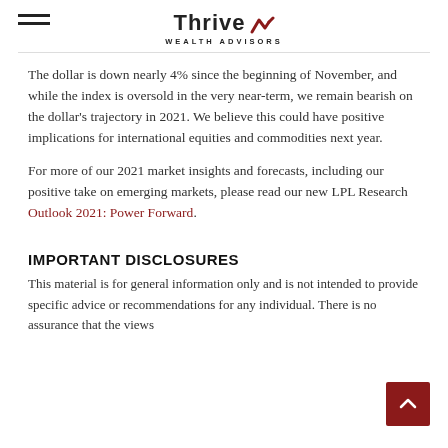Thrive Wealth Advisors
The dollar is down nearly 4% since the beginning of November, and while the index is oversold in the very near-term, we remain bearish on the dollar's trajectory in 2021. We believe this could have positive implications for international equities and commodities next year.
For more of our 2021 market insights and forecasts, including our positive take on emerging markets, please read our new LPL Research Outlook 2021: Power Forward.
IMPORTANT DISCLOSURES
This material is for general information only and is not intended to provide specific advice or recommendations for any individual. There is no assurance that the views...